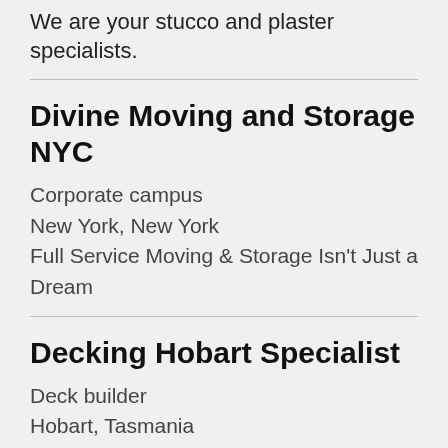We are your stucco and plaster specialists.
Divine Moving and Storage NYC
Corporate campus
New York, New York
Full Service Moving & Storage Isn't Just a Dream
Decking Hobart Specialist
Deck builder
Hobart, Tasmania
We are a company that specializes in